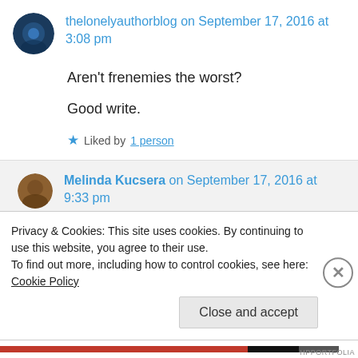thelonelyauthorblog on September 17, 2016 at 3:08 pm
Aren't frenemies the worst?
Good write.
★ Liked by 1 person
Melinda Kucsera on September 17, 2016 at 9:33 pm
Privacy & Cookies: This site uses cookies. By continuing to use this website, you agree to their use.
To find out more, including how to control cookies, see here: Cookie Policy
Close and accept